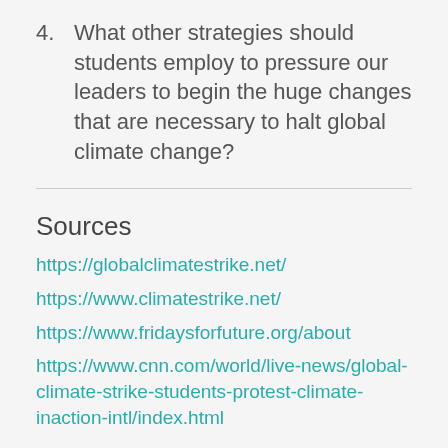4. What other strategies should students employ to pressure our leaders to begin the huge changes that are necessary to halt global climate change?
Sources
https://globalclimatestrike.net/
https://www.climatestrike.net/
https://www.fridaysforfuture.org/about
https://www.cnn.com/world/live-news/global-climate-strike-students-protest-climate-inaction-intl/index.html